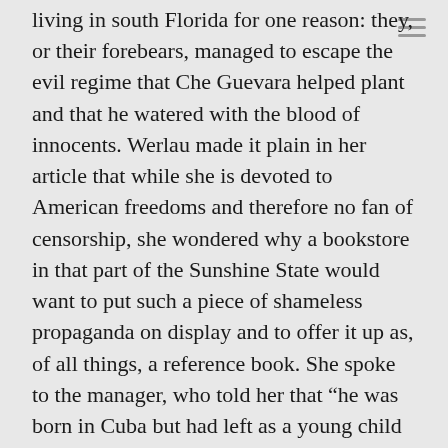living in south Florida for one reason: they, or their forebears, managed to escape the evil regime that Che Guevara helped plant and that he watered with the blood of innocents. Werlau made it plain in her article that while she is devoted to American freedoms and therefore no fan of censorship, she wondered why a bookstore in that part of the Sunshine State would want to put such a piece of shameless propaganda on display and to offer it up as, of all things, a reference book. She spoke to the manager, who told her that “he was born in Cuba but had left as a young child and knew nothing about Guevara.” Not surprising, alas.
Werlau looked up the author of the Che book. Martinez, she read, was born in Venezuela but has